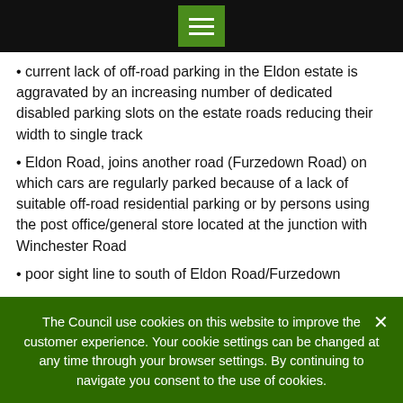[Figure (screenshot): Black top navigation bar with green hamburger menu icon in the center]
current lack of off-road parking in the Eldon estate is aggravated by an increasing number of dedicated disabled parking slots on the estate roads reducing their width to single track
Eldon Road, joins another road (Furzedown Road) on which cars are regularly parked because of a lack of suitable off-road residential parking or by persons using the post office/general store located at the junction with Winchester Road
poor sight line to south of Eldon Road/Furzedown
The Council use cookies on this website to improve the customer experience. Your cookie settings can be changed at any time through your browser settings. By continuing to navigate you consent to the use of cookies.
OK | READ MORE